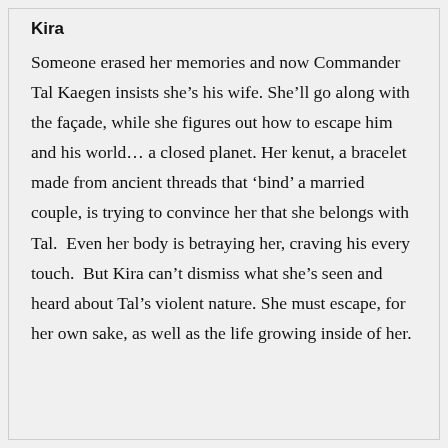Kira
Someone erased her memories and now Commander Tal Kaegen insists she’s his wife. She’ll go along with the façade, while she figures out how to escape him and his world… a closed planet. Her kenut, a bracelet made from ancient threads that ‘bind’ a married couple, is trying to convince her that she belongs with Tal.  Even her body is betraying her, craving his every touch.  But Kira can’t dismiss what she’s seen and heard about Tal’s violent nature. She must escape, for her own sake, as well as the life growing inside of her.